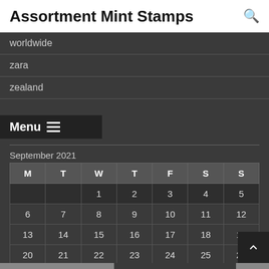Assortment Mint Stamps
worldwide
zara
zealand
Menu
Timetable
September 2021
| M | T | W | T | F | S | S |
| --- | --- | --- | --- | --- | --- | --- |
|  |  | 1 | 2 | 3 | 4 | 5 |
| 6 | 7 | 8 | 9 | 10 | 11 | 12 |
| 13 | 14 | 15 | 16 | 17 | 18 | 19 |
| 20 | 21 | 22 | 23 | 24 | 25 | 26 |
| 27 | 28 | 29 | 30 |  |  |  |